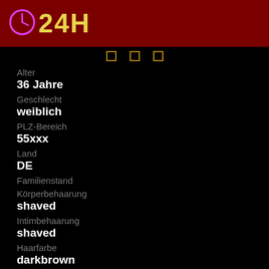24H
Alter
36 Jahre
Geschlecht
weiblich
PLZ-Bereich
55xxx
Land
DE
Familienstand
Körperbehaarung
shaved
Intimbehaarung
shaved
Haarfarbe
darkbrown